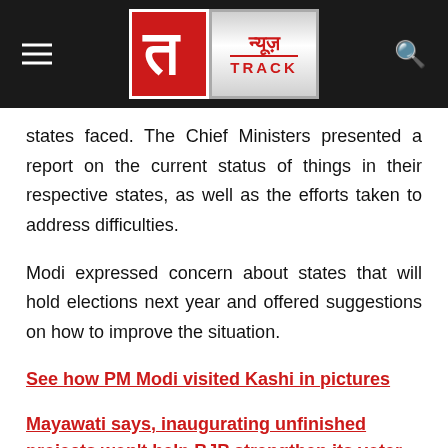[Figure (logo): News Track logo with hamburger menu on left and search icon on right, dark header bar]
states faced. The Chief Ministers presented a report on the current status of things in their respective states, as well as the efforts taken to address difficulties.
Modi expressed concern about states that will hold elections next year and offered suggestions on how to improve the situation.
See how PM Modi visited Kashi in pictures
Mayawati says, inaugurating unfinished projects won't help BJP strengthen its voter base